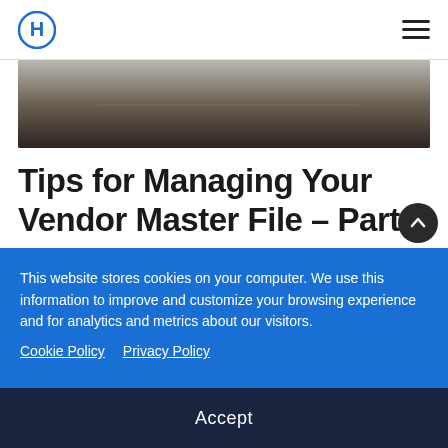Hg logo and hamburger menu navigation
[Figure (photo): Dark toned photo of a notebook or binder, partially visible at the top of the article]
Tips for Managing Your Vendor Master File – Part 1
by Isabelle Venable | Nov 16, 2021 | Industry Resources
Feeling out of control is not a feeling we like to
This website stores cookies on your computer. We use this information to improve and customize your browsing experience and for analytics and metrics about our visitors.
Cookie Policy   Privacy Policy
Accept